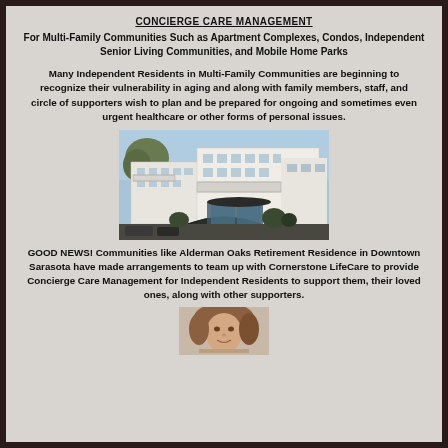CONCIERGE CARE MANAGEMENT
For Multi-Family Communities Such as Apartment Complexes, Condos, Independent Senior Living Communities, and Mobile Home Parks
Many Independent Residents in Multi-Family Communities are beginning to recognize their vulnerability in aging and along with family members, staff, and circle of supporters wish to plan and be prepared for ongoing and sometimes even urgent healthcare or other forms of personal issues.
[Figure (photo): Exterior photo of a white multi-story retirement residence building with balconies, covered entrance, landscaping, and parked cars in the foreground]
GOOD NEWS!  Communities like Alderman Oaks Retirement Residence in Downtown Sarasota have made arrangements to team up with Cornerstone LifeCare to provide Concierge Care Management for Independent Residents to support them, their loved ones, along with other supporters.
[Figure (photo): Portrait photo of a person, partially visible at bottom of page]